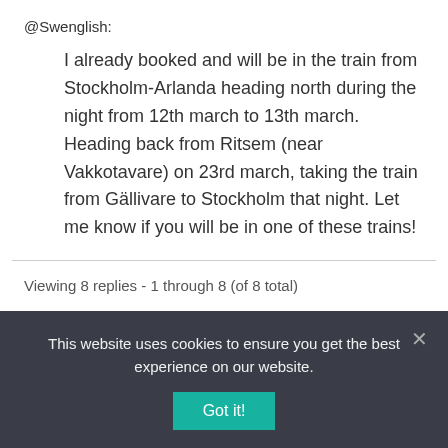@Swenglish:
I already booked and will be in the train from Stockholm-Arlanda heading north during the night from 12th march to 13th march. Heading back from Ritsem (near Vakkotavare) on 23rd march, taking the train from Gällivare to Stockholm that night. Let me know if you will be in one of these trains!
Viewing 8 replies - 1 through 8 (of 8 total)
You must be logged in to reply to this topic.
This website uses cookies to ensure you get the best experience on our website.
Got it!